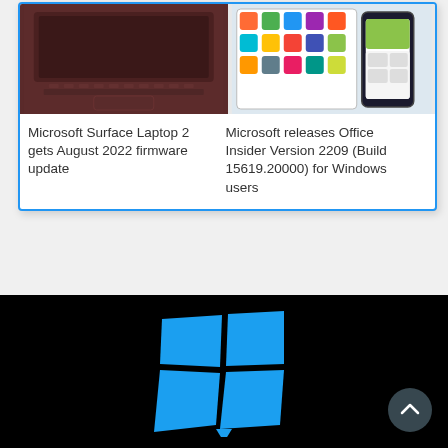[Figure (screenshot): Two news article cards with thumbnail images. Left card shows a dark red/maroon laptop (Surface Laptop 2). Right card shows phones and tablets with app screens.]
Microsoft Surface Laptop 2 gets August 2022 firmware update
Microsoft releases Office Insider Version 2209 (Build 15619.20000) for Windows users
[Figure (logo): Windows 11 logo — four blue quadrilateral panes forming a skewed grid on a black background, with a speech bubble shape at the bottom.]